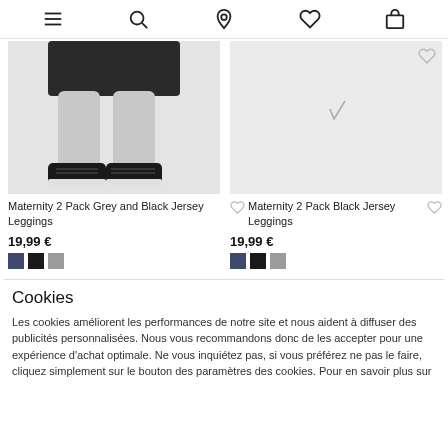Navigation bar with menu, search, location, wishlist, and cart icons
[Figure (photo): Photo of maternity leggings — lower half of a person wearing a dark skirt/shorts and grey leggings with black sneakers, with OK MATERNITY watermark text]
[Figure (photo): Light grey placeholder product image for Maternity 2 Pack Black Jersey Leggings]
Maternity 2 Pack Grey and Black Jersey Leggings
19,99 €
Maternity 2 Pack Black Jersey Leggings
19,99 €
Cookies
Les cookies améliorent les performances de notre site et nous aident à diffuser des publicités personnalisées. Nous vous recommandons donc de les accepter pour une expérience d'achat optimale. Ne vous inquiétez pas, si vous préférez ne pas le faire, cliquez simplement sur le bouton des paramètres des cookies. Pour en savoir plus sur